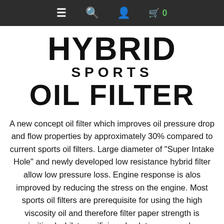≡  🔍  👤  🛒 0
[Figure (logo): HYBRID SPORTS OIL FILTER logo in bold black block lettering]
A new concept oil filter which improves oil pressure drop and flow properties by approximately 30% compared to current sports oil filters. Large diameter of "Super Intake Hole" and newly developed low resistance hybrid filter allow low pressure loss. Engine response is alos improved by reducing the stress on the engine. Most sports oil filters are prerequisite for using the high viscosity oil and therefore filter paper strength is prioritised whilst sacrificing absolute pressure loss